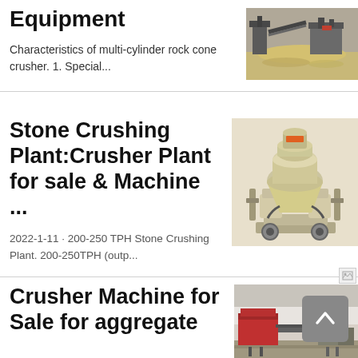Equipment
Characteristics of multi-cylinder rock cone crusher. 1. Special...
[Figure (photo): Outdoor mining/quarry site with crusher equipment and sand piles]
Stone Crushing Plant:Crusher Plant for sale & Machine ...
2022-1-11 · 200-250 TPH Stone Crushing Plant. 200-250TPH (outp...
[Figure (photo): Cone crusher machine, cream/beige colored, with visible piping and mechanical components]
Crusher Machine for Sale for aggregate
[Figure (photo): Industrial aggregate crusher plant with red machinery components on-site]